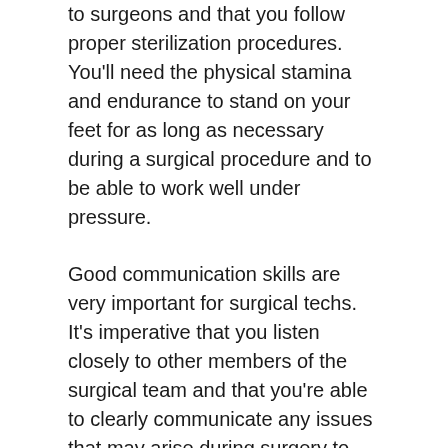to surgeons and that you follow proper sterilization procedures. You'll need the physical stamina and endurance to stand on your feet for as long as necessary during a surgical procedure and to be able to work well under pressure.
Good communication skills are very important for surgical techs. It's imperative that you listen closely to other members of the surgical team and that you're able to clearly communicate any issues that may arise during surgery to the physician or other team members. You'll also need critical thinking skills.
Can I Become a Surgical Tech Online?